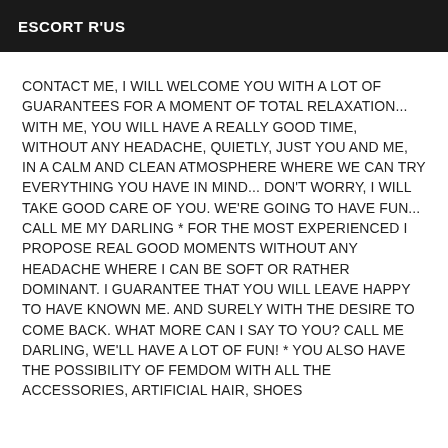ESCORT R'US
CONTACT ME, I WILL WELCOME YOU WITH A LOT OF GUARANTEES FOR A MOMENT OF TOTAL RELAXATION... WITH ME, YOU WILL HAVE A REALLY GOOD TIME, WITHOUT ANY HEADACHE, QUIETLY, JUST YOU AND ME, IN A CALM AND CLEAN ATMOSPHERE WHERE WE CAN TRY EVERYTHING YOU HAVE IN MIND... DON'T WORRY, I WILL TAKE GOOD CARE OF YOU. WE'RE GOING TO HAVE FUN... CALL ME MY DARLING * FOR THE MOST EXPERIENCED I PROPOSE REAL GOOD MOMENTS WITHOUT ANY HEADACHE WHERE I CAN BE SOFT OR RATHER DOMINANT. I GUARANTEE THAT YOU WILL LEAVE HAPPY TO HAVE KNOWN ME. AND SURELY WITH THE DESIRE TO COME BACK. WHAT MORE CAN I SAY TO YOU? CALL ME DARLING, WE'LL HAVE A LOT OF FUN! * YOU ALSO HAVE THE POSSIBILITY OF FEMDOM WITH ALL THE ACCESSORIES, ARTIFICIAL HAIR, SHOES